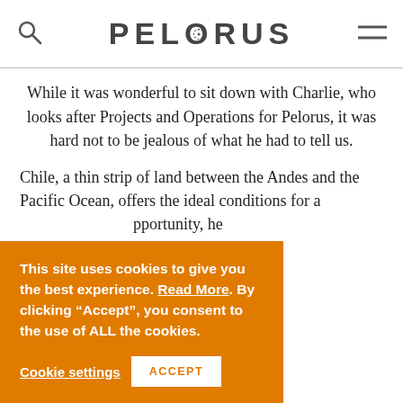PELORUS
While it was wonderful to sit down with Charlie, who looks after Projects and Operations for Pelorus, it was hard not to be jealous of what he had to tell us.
Chile, a thin strip of land between the Andes and the Pacific Ocean, offers the ideal conditions for a …opportunity, he …at Puyuhuapi …ly contrasting …ietest region, …ure arrowing …of South America…
This site uses cookies to give you the best experience. Read More. By clicking “Accept”, you consent to the use of ALL the cookies.
Cookie settings
ACCEPT